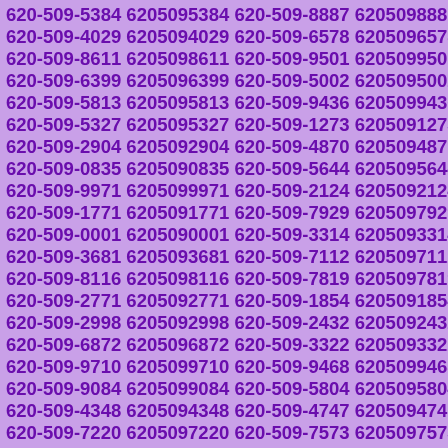620-509-5384 6205095384 620-509-8887 6205098887 620-509-4029 6205094029 620-509-6578 6205096578 620-509-8611 6205098611 620-509-9501 6205099501 620-509-6399 6205096399 620-509-5002 6205095002 620-509-5813 6205095813 620-509-9436 6205099436 620-509-5327 6205095327 620-509-1273 6205091273 620-509-2904 6205092904 620-509-4870 6205094870 620-509-0835 6205090835 620-509-5644 6205095644 620-509-9971 6205099971 620-509-2124 6205092124 620-509-1771 6205091771 620-509-7929 6205097929 620-509-0001 6205090001 620-509-3314 6205093314 620-509-3681 6205093681 620-509-7112 6205097112 620-509-8116 6205098116 620-509-7819 6205097819 620-509-2771 6205092771 620-509-1854 6205091854 620-509-2998 6205092998 620-509-2432 6205092432 620-509-6872 6205096872 620-509-3322 6205093322 620-509-9710 6205099710 620-509-9468 6205099468 620-509-9084 6205099084 620-509-5804 6205095804 620-509-4348 6205094348 620-509-4747 6205094747 620-509-7220 6205097220 620-509-7573 6205097573 620-509-5071 6205095071 620-509-1050 6205091050